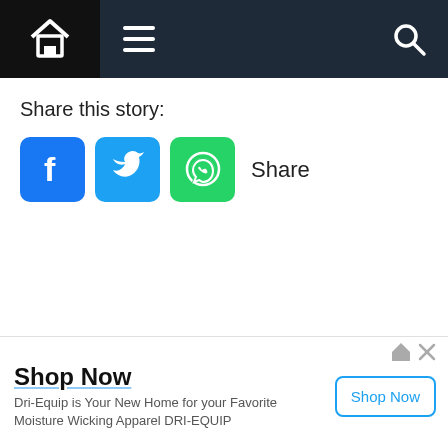Navigation bar with home, hamburger menu, and search icons
Share this story:
[Figure (screenshot): Social media share buttons: Facebook (blue), Twitter (light blue), WhatsApp (green), and Share text]
[Figure (screenshot): Dropdown chevron tab on left side]
[Figure (infographic): Advertisement banner: Shop Now - Dri-Equip is Your New Home for your Favorite Moisture Wicking Apparel DRI-EQUIP, with Shop Now button]